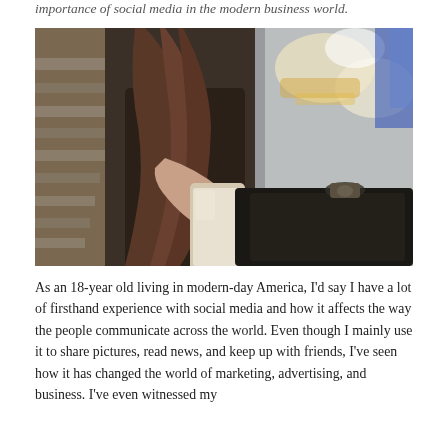importance of social media in the modern business world.
[Figure (photo): A young woman with long brown hair holding a smartphone, wearing a striped top and dark jacket, with a blurred indoor background featuring bright lights and a black bag.]
As an 18-year old living in modern-day America, I'd say I have a lot of firsthand experience with social media and how it affects the way the people communicate across the world. Even though I mainly use it to share pictures, read news, and keep up with friends, I've seen how it has changed the world of marketing, advertising, and business. I've even witnessed my